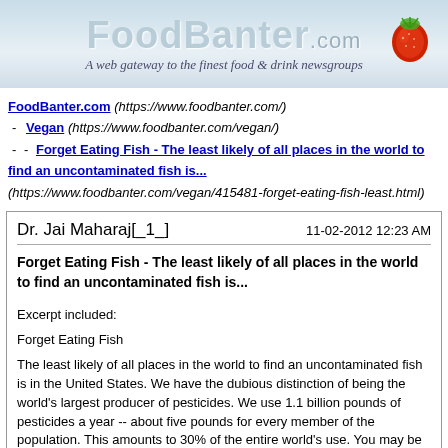[Figure (logo): FoodBanter.com banner with logo text, subtitle 'A web gateway to the finest food & drink newsgroups', and strawberry image]
FoodBanter.com (https://www.foodbanter.com/) - Vegan (https://www.foodbanter.com/vegan/) - - Forget Eating Fish - The least likely of all places in the world to find an uncontaminated fish is... (https://www.foodbanter.com/vegan/415481-forget-eating-fish-least.html)
Dr. Jai Maharaj[_1_]   11-02-2012 12:23 AM
Forget Eating Fish - The least likely of all places in the world to find an uncontaminated fish is...
Excerpt included:
Forget Eating Fish
The least likely of all places in the world to find an uncontaminated fish is in the United States. We have the dubious distinction of being the world's largest producer of pesticides. We use 1.1 billion pounds of pesticides a year -- about five pounds for every member of the population. This amounts to 30% of the entire world's use. You may be wondering if any fish are safe. Even for research purposes, it